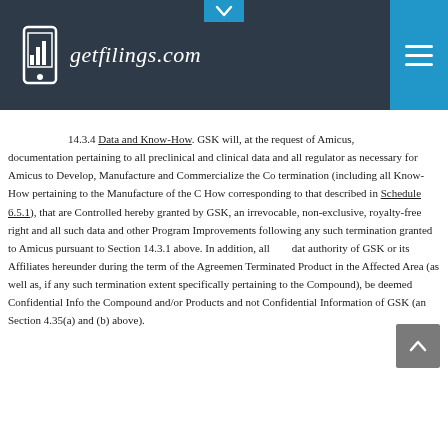getfilings.com
14.3.4 Data and Know-How. GSK will, at the request of Amicus, provide documentation pertaining to all preclinical and clinical data and all regulatory as necessary for Amicus to Develop, Manufacture and Commercialize the Co termination (including all Know-How pertaining to the Manufacture of the C How corresponding to that described in Schedule 6.5.1), that are Controlled hereby granted by GSK, an irrevocable, non-exclusive, royalty-free right and all such data and other Program Improvements following any such termination granted to Amicus pursuant to Section 14.3.1 above. In addition, all data authority of GSK or its Affiliates hereunder during the term of the Agreement Terminated Product in the Affected Area (as well as, if any such termination extent specifically pertaining to the Compound), be deemed Confidential Info the Compound and/or Products and not Confidential Information of GSK (an Section 4.35(a) and (b) above).